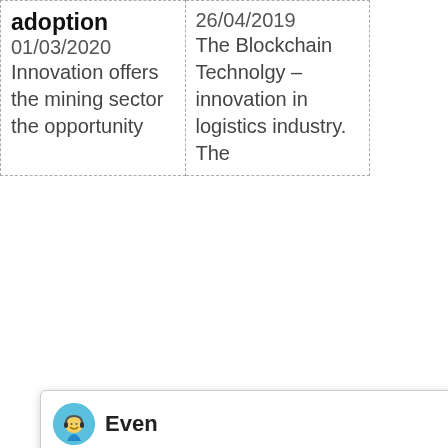| Column 1 | Column 2 |
| --- | --- |
| adoption
01/03/2020
Innovation offers the mining sector the opportunity | 26/04/2019
The Blockchain Technolgy – innovation in logistics industry. The |
[Figure (screenshot): Chat popup from bot named 'Even' saying: Hello, I am Even, I am very glad to talk with you!]
ka
chilli crusher machine in hyderabad
vsi stone crusher shaktiman
jaw crusher gyratory crusher youtube
limestone crusher manufacturers germany
china energy saving large capacity good qua
automatic control grinding mill Mining
definition of magnetic separation
crusher cina produsen
[Figure (screenshot): Blue sidebar with smiley emoji bot avatar, badge showing '1', 'Click me to chat >>' button, 'Enquiry' label, and email 'cywaitml@gmail.com']